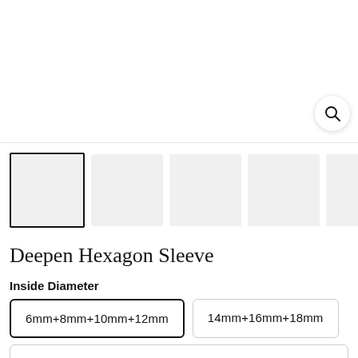[Figure (screenshot): White top area with a search icon button (magnifying glass) in the bottom right corner inside a circular white card with shadow.]
[Figure (screenshot): Row of product thumbnail image placeholders. First thumbnail has a dark border (selected state), remaining are light grey rectangles.]
Deepen Hexagon Sleeve
Inside Diameter
6mm+8mm+10mm+12mm
14mm+16mm+18mm
6mm+8mm+10mm+12mm+14mm+16mm+18mm